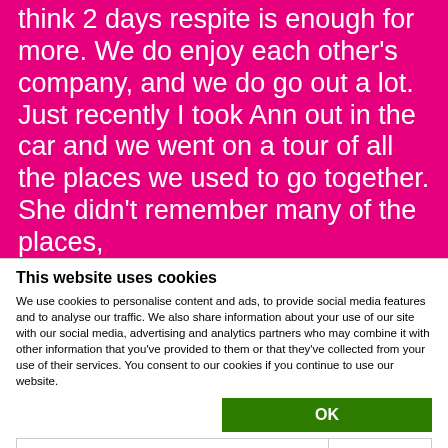think 2 days respite is enough for more. We do enjoy each other's company, and we do go out a lot. Just recently I took Ann out in the car and we went on a tour of all the places we used to go together. She didn't remember many of the places,
This website uses cookies
We use cookies to personalise content and ads, to provide social media features and to analyse our traffic. We also share information about your use of our site with our social media, advertising and analytics partners who may combine it with other information that you've provided to them or that they've collected from your use of their services. You consent to our cookies if you continue to use our website.